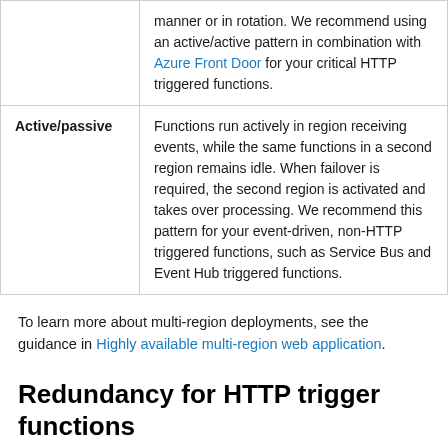| Pattern | Description |
| --- | --- |
| Active/passive | Functions run actively in region receiving events, while the same functions in a second region remains idle. When failover is required, the second region is activated and takes over processing. We recommend this pattern for your event-driven, non-HTTP triggered functions, such as Service Bus and Event Hub triggered functions. |
To learn more about multi-region deployments, see the guidance in Highly available multi-region web application.
Redundancy for HTTP trigger functions